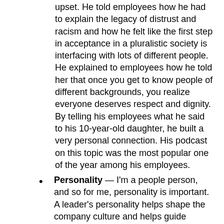upset. He told employees how he had to explain the legacy of distrust and racism and how he felt like the first step in acceptance in a pluralistic society is interfacing with lots of different people. He explained to employees how he told her that once you get to know people of different backgrounds, you realize everyone deserves respect and dignity. By telling his employees what he said to his 10-year-old daughter, he built a very personal connection. His podcast on this topic was the most popular one of the year among his employees.
Personality — I'm a people person, and so for me, personality is important. A leader's personality helps shape the company culture and helps guide employee's actions as they fulfill the leader's vision. A leader's personality can help motivate employees if they are engaged with company leadership.
Has your company experienced communication challenges with your workforce working from home